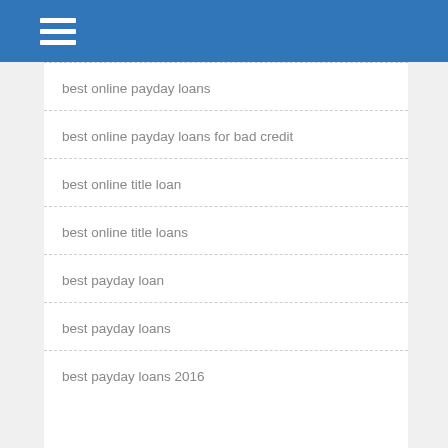best online payday loans
best online payday loans for bad credit
best online title loan
best online title loans
best payday loan
best payday loans
best payday loans 2016